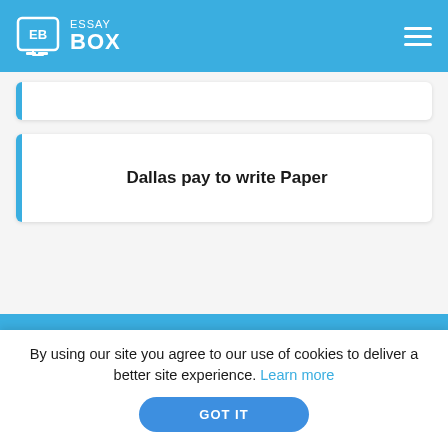ESSAY BOX
Dallas pay to write Paper
Get a price estimate
By using our site you agree to our use of cookies to deliver a better site experience. Learn more
GOT IT